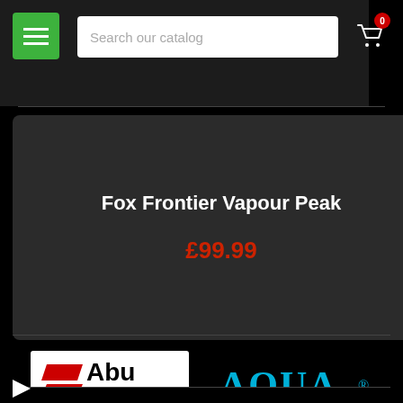[Figure (screenshot): Dark navigation header with green hamburger menu button, search box labeled 'Search our catalog', and cart icon with badge showing 0]
Fox Frontier Vapour Peak
£99.99
[Figure (logo): Abu Garcia logo with red parallelogram shapes and black text]
[Figure (logo): Aqua Products logo in cyan/blue text with olive green swoosh line underneath]